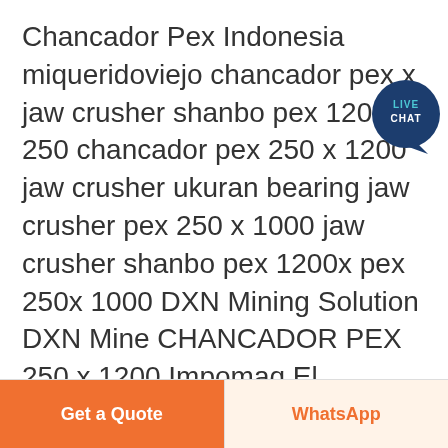Chancador Pex Indonesia miqueridoviejo chancador pex x jaw crusher shanbo pex 1200x 250 chancador pex 250 x 1200 jaw crusher ukuran bearing jaw crusher pex 250 x 1000 jaw crusher shanbo pex 1200x pex 250x 1000 DXN Mining Solution DXN Mine CHANCADOR PEX 250 x 1200 Impomaq El Chancador de Mandibulas PEX 250 X 1200
[Figure (other): Live Chat button bubble — dark navy circular icon with 'LIVE CHAT' text in white and a speech bubble tail, positioned top-right]